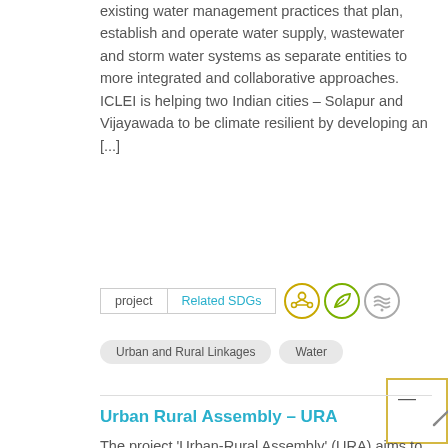existing water management practices that plan, establish and operate water supply, wastewater and storm water systems as separate entities to more integrated and collaborative approaches. ICLEI is helping two Indian cities – Solapur and Vijayawada to be climate resilient by developing an [...]
project   Related SDGs
Urban and Rural Linkages
Water
Urban Rural Assembly – URA
The project 'Urban-Rural Assembly' (URA) aims to build a better understanding of the urban-rural constellation and interdependencies that are emerging along China's vast urbanisation corridors, and which can no longer be described through traditional binaries of 'urban' and 'rural'. The region Huangyan-Taizhou, part of the Chinese 'prefectural-